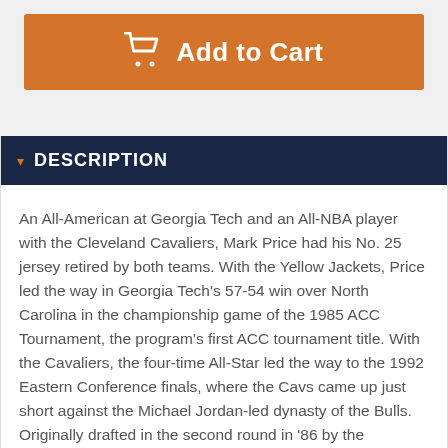[Figure (other): Orange 'Add to Cart' button with shopping cart icon]
DESCRIPTION
An All-American at Georgia Tech and an All-NBA player with the Cleveland Cavaliers, Mark Price had his No. 25 jersey retired by both teams. With the Yellow Jackets, Price led the way in Georgia Tech's 57-54 win over North Carolina in the championship game of the 1985 ACC Tournament, the program's first ACC tournament title. With the Cavaliers, the four-time All-Star led the way to the 1992 Eastern Conference finals, where the Cavs came up just short against the Michael Jordan-led dynasty of the Bulls. Originally drafted in the second round in '86 by the Mavericks, Price was traded to Cleveland on draft day and spent nine of his 12 NBA seasons with the Cavs. In his time in Cleveland, he was successful on